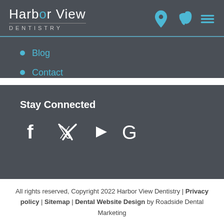Harbor View Dentistry
Blog
Contact
Stay Connected
[Figure (infographic): Social media icons: Facebook, Twitter, YouTube, Google]
All rights reserved, Copyright 2022 Harbor View Dentistry | Privacy policy | Sitemap | Dental Website Design by Roadside Dental Marketing